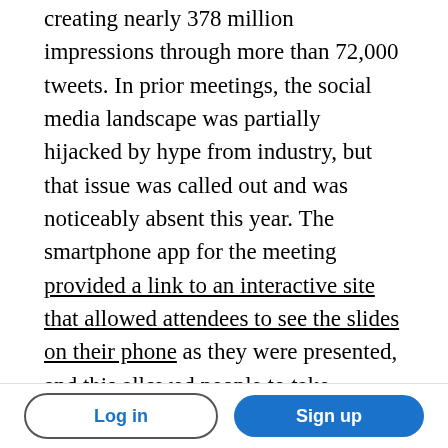creating nearly 378 million impressions through more than 72,000 tweets. In prior meetings, the social media landscape was partially hijacked by hype from industry, but that issue was called out and was noticeably absent this year. The smartphone app for the meeting provided a link to an interactive site that allowed attendees to see the slides on their phone as they were presented, and this allowed people to take screenshots on their phones and tweet slides with comments. This drastically reduced the number of people lugging fancy cameras around to use photography to capture meeting content or the raising of smartphones to photograph the slides
Log in  Sign up